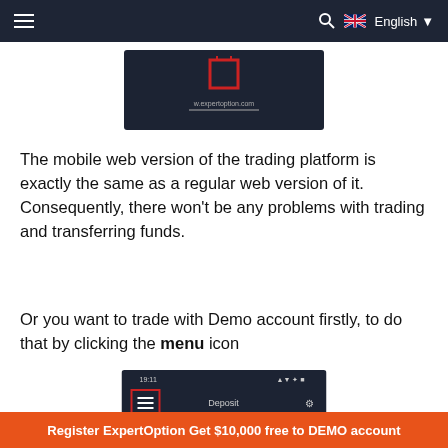≡   🔍   🇬🇧 English ▼
[Figure (screenshot): Dark blue mobile screen showing ExpertOption website with a red icon and URL w.expertoption.com]
The mobile web version of the trading platform is exactly the same as a regular web version of it. Consequently, there won't be any problems with trading and transferring funds.
Or you want to trade with Demo account firstly, to do that by clicking the menu icon
[Figure (screenshot): Dark blue mobile app screenshot showing status bar with 19:11 time, menu hamburger icon in red box on left, Deposit button, and settings icon]
Register ExpertOption Get $10,000 free to DEMO account